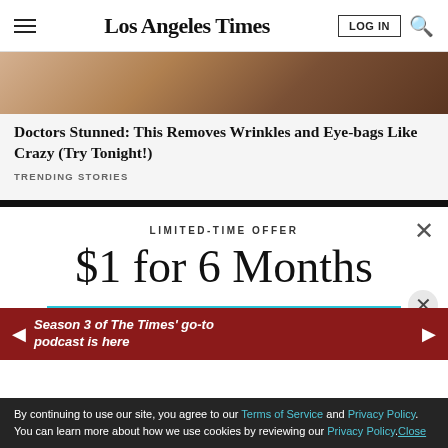Los Angeles Times
[Figure (photo): Close-up photo of aged skin showing wrinkles near eye area]
Doctors Stunned: This Removes Wrinkles and Eye-bags Like Crazy (Try Tonight!)
TRENDING STORIES
LIMITED-TIME OFFER
$1 for 6 Months
SUBSCRIBE NOW
By continuing to use our site, you agree to our Terms of Service and Privacy Policy. You can learn more about how we use cookies by reviewing our Privacy Policy. Close
Season 3 of The Times' go-to podcast is here